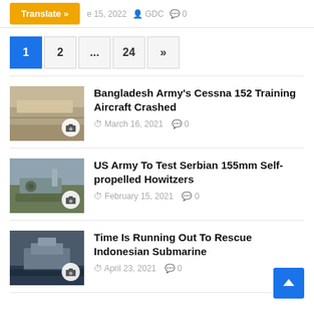Translate » | e 15, 2022  GDC  0
Pagination: 1, 2, ..., 24, »
[Figure (photo): Thumbnail image of crashed aircraft wreckage on sandy ground]
Bangladesh Army's Cessna 152 Training Aircraft Crashed
March 16, 2021  0
[Figure (photo): Thumbnail image of self-propelled howitzer artillery vehicle]
US Army To Test Serbian 155mm Self-propelled Howitzers
February 15, 2021  0
[Figure (photo): Thumbnail image of oil rig or offshore platform at sea]
Time Is Running Out To Rescue Indonesian Submarine
April 23, 2021  0